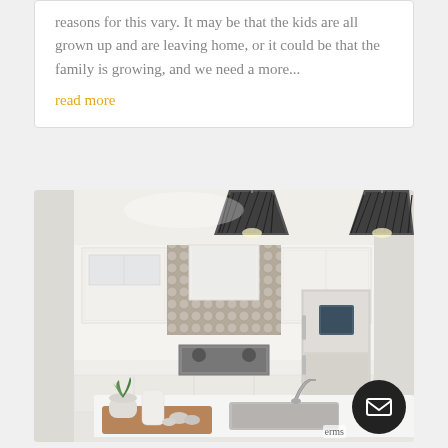reasons for this vary. It may be that the kids are all grown up and are leaving home, or it could be that the family is growing, and we need a more...
read more
[Figure (photo): Modern kitchen interior with white cabinets, patterned tile backsplash, stainless steel appliances including a refrigerator with a screen, a kitchen island with a sink and faucet, a wooden tray with a plant and decor items, and two black wire pendant lights hanging from the ceiling.]